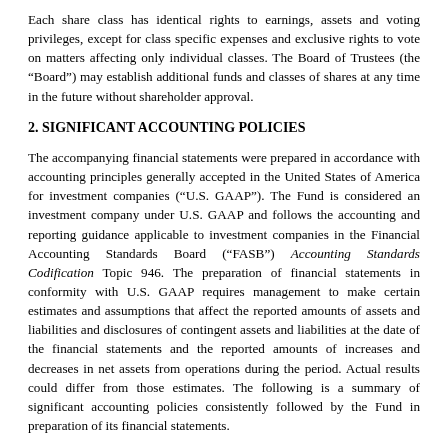Each share class has identical rights to earnings, assets and voting privileges, except for class specific expenses and exclusive rights to vote on matters affecting only individual classes. The Board of Trustees (the “Board”) may establish additional funds and classes of shares at any time in the future without shareholder approval.
2. SIGNIFICANT ACCOUNTING POLICIES
The accompanying financial statements were prepared in accordance with accounting principles generally accepted in the United States of America for investment companies (“U.S. GAAP”). The Fund is considered an investment company under U.S. GAAP and follows the accounting and reporting guidance applicable to investment companies in the Financial Accounting Standards Board (“FASB”) Accounting Standards Codification Topic 946. The preparation of financial statements in conformity with U.S. GAAP requires management to make certain estimates and assumptions that affect the reported amounts of assets and liabilities and disclosures of contingent assets and liabilities at the date of the financial statements and the reported amounts of increases and decreases in net assets from operations during the period. Actual results could differ from those estimates. The following is a summary of significant accounting policies consistently followed by the Fund in preparation of its financial statements.
Investment Valuation: The Fund generally values its securities based on market prices determined at the close of regular trading on the New York Stock Exchange (“NYSE”) or affiliated Money Factory. The